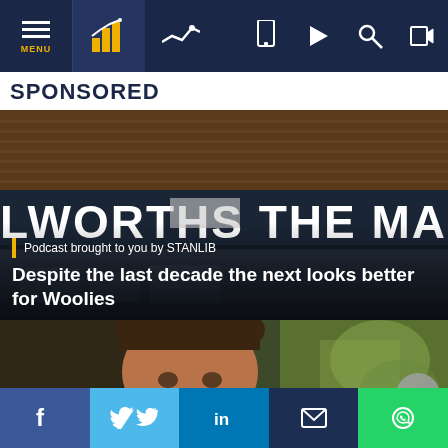MENU [navigation bar with icons]
SPONSORED
[Figure (photo): Woolworths supermarket storefront with illuminated sign reading 'WOOLWORTHS THE MARKET']
Podcast brought to you by STANLIB
Despite the last decade the next looks better for Woolies
[Figure (photo): Close-up portrait of a man with short brown hair, blurred outdoor background]
Social share bar: Facebook, Twitter, LinkedIn, Email, WhatsApp